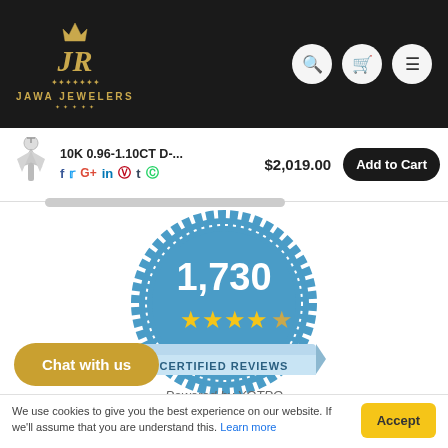[Figure (logo): Jawa Jewelers logo with gold scripted JR monogram and crown on black background]
JAWA JEWELERS
10K 0.96-1.10CT D-... $2,019.00 Add to Cart
[Figure (infographic): Blue badge seal showing 1,730 certified reviews with 4.5 gold stars and ribbon reading CERTIFIED REVIEWS]
Powered by YOTPO
Chat with us
We use cookies to give you the best experience on our website. If we'll assume that you are understand this. Learn more